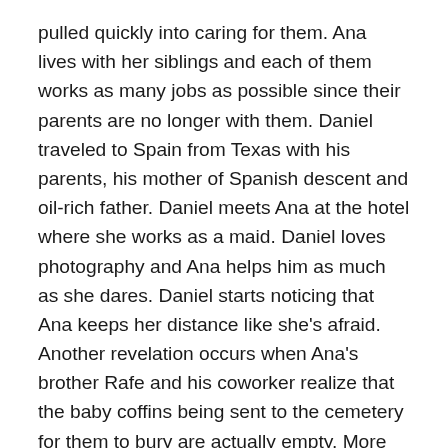pulled quickly into caring for them. Ana lives with her siblings and each of them works as many jobs as possible since their parents are no longer with them. Daniel traveled to Spain from Texas with his parents, his mother of Spanish descent and oil-rich father. Daniel meets Ana at the hotel where she works as a maid. Daniel loves photography and Ana helps him as much as she dares. Daniel starts noticing that Ana keeps her distance like she's afraid. Another revelation occurs when Ana's brother Rafe and his coworker realize that the baby coffins being sent to the cemetery for them to bury are actually empty. More injustice is revealed as we learn that Ana's parents were killed because they wanted to start a school and their ideas went against the beliefs of the leader of Spain, Francisco Franco. The snippets taken from primary sources bring this story to a deeper level and helped me to understand how the rest of the world perceived Spain during this time frame.
The characters and their lives all connect in one way or